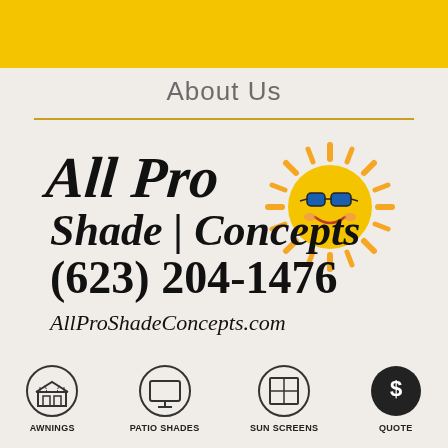[Figure (illustration): Yellow banner/header bar at top of page]
About Us
[Figure (logo): All Pro Shade Concepts logo with cartoon sun wearing sunglasses, phone number (623) 204-1476, and website AllProShadeConcepts.com]
[Figure (infographic): Bottom navigation bar with four icons: Awnings (store front icon), Patio Shades (monitor/screen icon), Sun Screens (window icon), Quote (dollar sign speech bubble icon, dark background)]